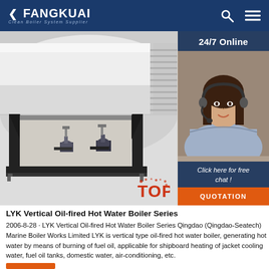FANGKUAI Clean Boiler System Supplier
[Figure (photo): LYK vertical oil-fired hot water boiler product photo showing a large horizontal white cylindrical boiler tank mounted on a black steel frame, with pumps and fittings visible underneath. Overlaid in the top-right corner is a '24/7 Online' customer service chat widget showing a woman with a headset, 'Click here for free chat!' call-to-action text, and an orange QUOTATION button.]
LYK Vertical Oil-fired Hot Water Boiler Series
2006-8-28 · LYK Vertical Oil-fired Hot Water Boiler Series Qingdao (Qingdao-Seatech) Marine Boiler Works Limited LYK is vertical type oil-fired hot water boiler, generating hot water by means of burning of fuel oil, applicable for shipboard heating of jacket cooling water, fuel oil tanks, domestic water, air-conditioning, etc.